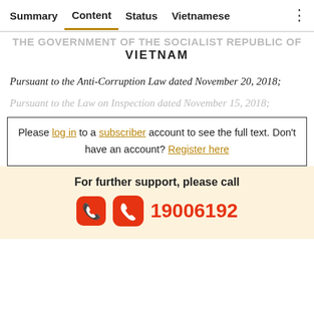Summary | Content | Status | Vietnamese
THE GOVERNMENT OF THE SOCIALIST REPUBLIC OF VIETNAM
Pursuant to the Anti-Corruption Law dated November 20, 2018;
Pursuant to the Law on Inspection dated November 15, 2018;
Please log in to a subscriber account to see the full text. Don't have an account? Register here
For further support, please call 19006192